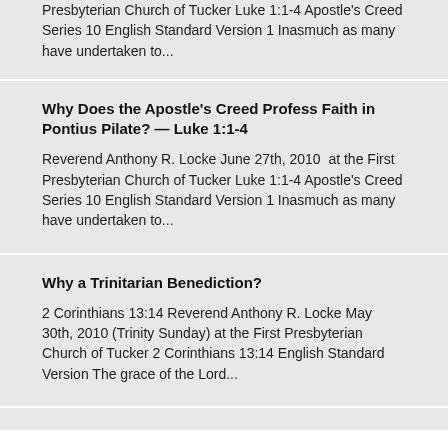Presbyterian Church of Tucker Luke 1:1-4 Apostle's Creed Series 10 English Standard Version 1 Inasmuch as many have undertaken to...
Why Does the Apostle's Creed Profess Faith in Pontius Pilate? — Luke 1:1-4
Reverend Anthony R. Locke June 27th, 2010  at the First Presbyterian Church of Tucker Luke 1:1-4 Apostle's Creed Series 10 English Standard Version 1 Inasmuch as many have undertaken to...
Why a Trinitarian Benediction?
2 Corinthians 13:14 Reverend Anthony R. Locke May 30th, 2010 (Trinity Sunday) at the First Presbyterian Church of Tucker 2 Corinthians 13:14 English Standard Version The grace of the Lord...